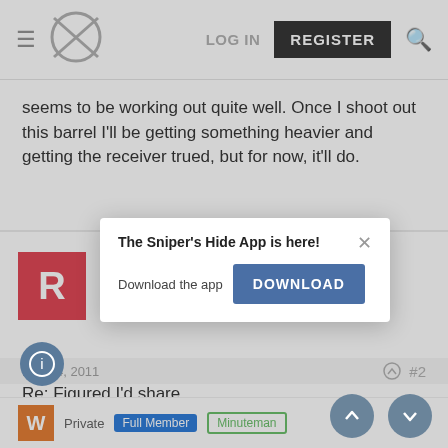LOG IN  REGISTER [search icon]
seems to be working out quite well. Once I shoot out this barrel I'll be getting something heavier and getting the receiver trued, but for now, it'll do.
Ryan Brownshoe
Private  Full Member  Minuteman
Nov 14, 2011  #2
Re: Figured I'd share
Nice! what do you think of the Mcree stock? I have one on the w
[Figure (screenshot): Popup notification: 'The Sniper's Hide App is here!' with Download button and close (X) button]
Private  Full Member  Minuteman